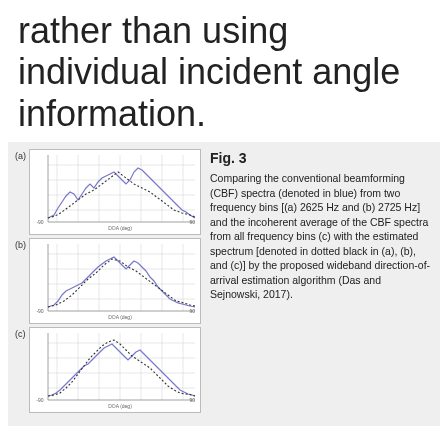rather than using individual incident angle information.
[Figure (continuous-plot): Three stacked plots (a), (b), (c) showing conventional beamforming (CBF) spectra in blue and estimated spectrum in dotted black. (a) is at 2625 Hz, (b) at 2725 Hz, (c) is the incoherent average of all frequency bins.]
Fig. 3 Comparing the conventional beamforming (CBF) spectra (denoted in blue) from two frequency bins [(a) 2625 Hz and (b) 2725 Hz] and the incoherent average of the CBF spectra from all frequency bins (c) with the estimated spectrum [denoted in dotted black in (a), (b), and (c)] by the proposed wideband direction-of-arrival estimation algorithm (Das and Sejnowski, 2017).